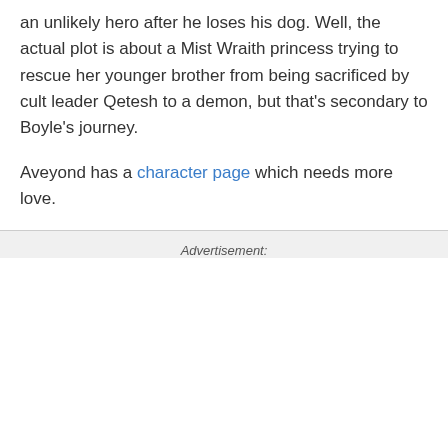an unlikely hero after he loses his dog. Well, the actual plot is about a Mist Wraith princess trying to rescue her younger brother from being sacrificed by cult leader Qetesh to a demon, but that's secondary to Boyle's journey.
Aveyond has a character page which needs more love.
Advertisement: